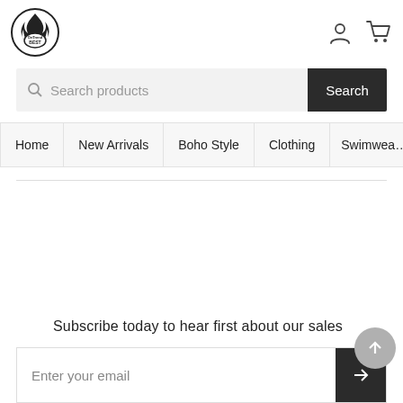[Figure (logo): OnTrend Best logo with flame icon and circular badge]
[Figure (other): User account icon and shopping cart icon in header]
Search products
Search
Home
New Arrivals
Boho Style
Clothing
Swimwear
Subscribe today to hear first about our sales
Enter your email